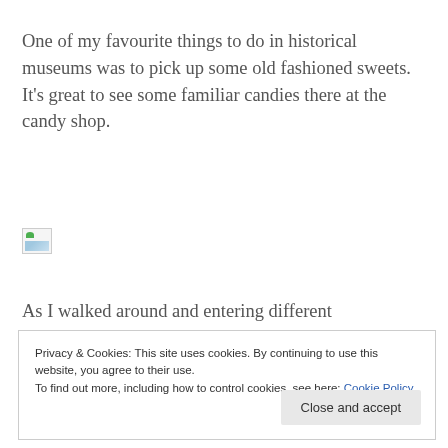One of my favourite things to do in historical museums was to pick up some old fashioned sweets. It's great to see some familiar candies there at the candy shop.
[Figure (other): Broken image placeholder icon]
As I walked around and entering different
Privacy & Cookies: This site uses cookies. By continuing to use this website, you agree to their use.
To find out more, including how to control cookies, see here: Cookie Policy
Close and accept